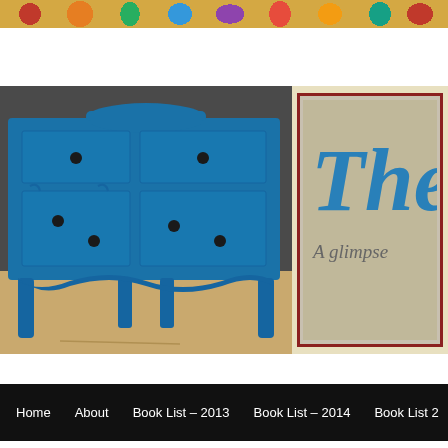[Figure (photo): Decorative colorful floral/paisley pattern banner at the top of the blog page]
[Figure (photo): Blue painted dresser/sideboard with dark knobs, photographed in a room with wooden floor]
[Figure (photo): Blog logo showing 'The' in blue cursive with 'A glimpse' text below on grey/linen background with red border]
Home   About   Book List – 2013   Book List – 2014   Book List 2
← One Down – too many to go!
Uncle Andy's Here
Posted on February 25, 2008 by thebluehutch